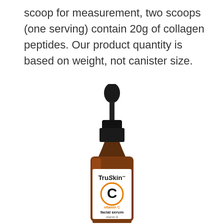scoop for measurement, two scoops (one serving) contain 20g of collagen peptides. Our product quantity is based on weight, not canister size.
[Figure (photo): TruSkin Vitamin C Facial Serum bottle with dropper. Amber glass bottle with white label showing TruSkin brand name, large orange circle with letter C, and text 'vitamin C facial serum vitamin E + hyaluronic acid'. Black dropper cap on top.]